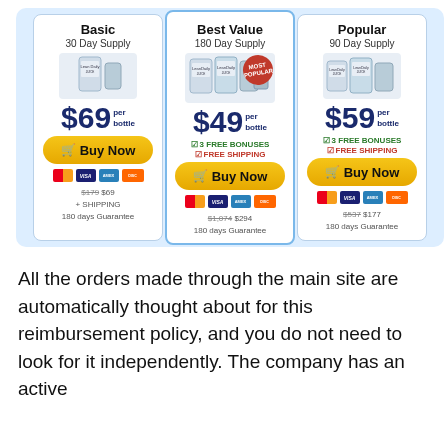[Figure (infographic): Three pricing cards side by side: Basic (30 Day Supply, $69/bottle), Best Value (180 Day Supply, $49/bottle, Most Popular badge, 3 Free Bonuses, Free Shipping), Popular (90 Day Supply, $59/bottle, 3 Free Bonuses, Free Shipping). Each card has product bottle image, Buy Now button, payment icons (Mastercard, Visa, Amex, Discover), and pricing notes with guarantees.]
All the orders made through the main site are automatically thought about for this reimbursement policy, and you do not need to look for it independently. The company has an active